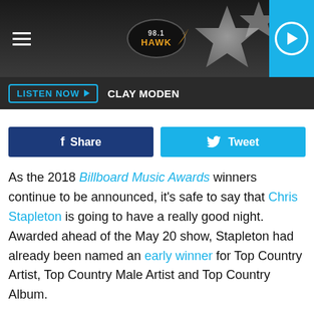[Figure (screenshot): Radio station header bar with hamburger menu, 98.1 Hawk logo, star background, and blue play button corner]
LISTEN NOW ▶  CLAY MODEN
[Figure (infographic): Facebook Share button (dark blue) and Twitter Tweet button (light blue)]
As the 2018 Billboard Music Awards winners continue to be announced, it's safe to say that Chris Stapleton is going to have a really good night. Awarded ahead of the May 20 show, Stapleton had already been named an early winner for Top Country Artist, Top Country Male Artist and Top Country Album.
Not bad for the new father of twins!
Other early BBMAs winners included Maren Morris for Top Country Female Artist, Florida Georgia Line for Top Country